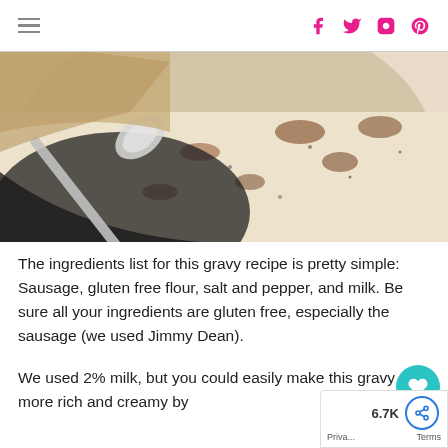Navigation header with hamburger menu and social icons (Facebook, Twitter, Instagram, Pinterest)
[Figure (photo): Close-up overhead photo of creamy white sausage gravy in a dark skillet with a metal spoon, showing browned sausage pieces throughout the sauce]
The ingredients list for this gravy recipe is pretty simple: Sausage, gluten free flour, salt and pepper, and milk. Be sure all your ingredients are gluten free, especially the sausage (we used Jimmy Dean).
We used 2% milk, but you could easily make this gravy more rich and creamy by